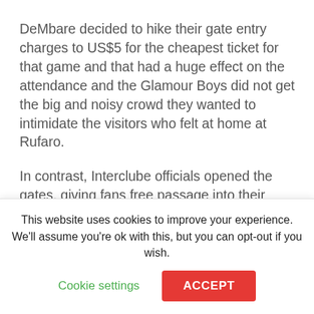DeMbare decided to hike their gate entry charges to US$5 for the cheapest ticket for that game and that had a huge effect on the attendance and the Glamour Boys did not get the big and noisy crowd they wanted to intimidate the visitors who felt at home at Rufaro.
In contrast, Interclube officials opened the gates, giving fans free passage into their stadium, and this created a cauldron that the Angolan side needed and they were repaid with a 1-0 win. Then, last weekend, the Zimbabwe Under 20 team failed to travel to Angola for
This website uses cookies to improve your experience. We'll assume you're ok with this, but you can opt-out if you wish.
Cookie settings
ACCEPT